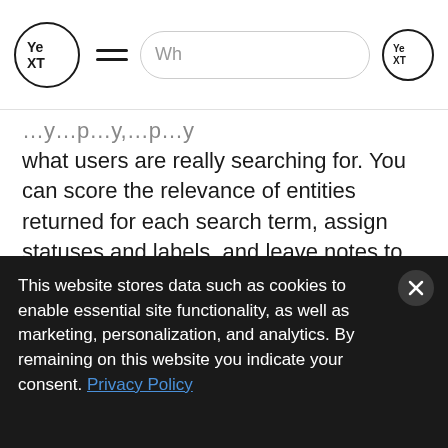[Figure (screenshot): Yext website navigation bar with Yext logo on left, hamburger menu icon, search bar with placeholder text 'Wh', and Yext icon on right]
what users are really searching for. You can score the relevance of entities returned for each search term, assign statuses and labels, and leave notes to quickly provide feedback on search results.
[Figure (screenshot): Partial screenshot showing a UI with dots and a gold-bordered content area on a beige/cream background]
This website stores data such as cookies to enable essential site functionality, as well as marketing, personalization, and analytics. By remaining on this website you indicate your consent. Privacy Policy